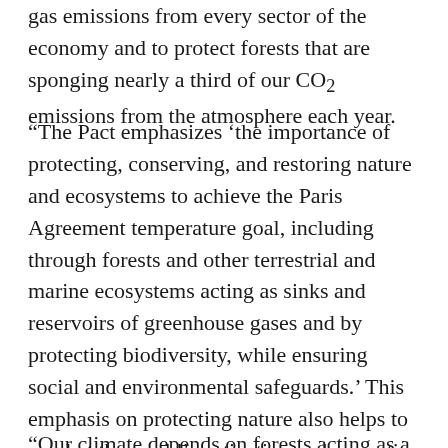gas emissions from every sector of the economy and to protect forests that are sponging nearly a third of our CO2 emissions from the atmosphere each year.
“The Pact emphasizes ‘the importance of protecting, conserving, and restoring nature and ecosystems to achieve the Paris Agreement temperature goal, including through forests and other terrestrial and marine ecosystems acting as sinks and reservoirs of greenhouse gases and by protecting biodiversity, while ensuring social and environmental safeguards.’ This emphasis on protecting nature also helps to combat the world’s extinction and zoonotic health crises.
“Our climate depends on forests acting as a CO2